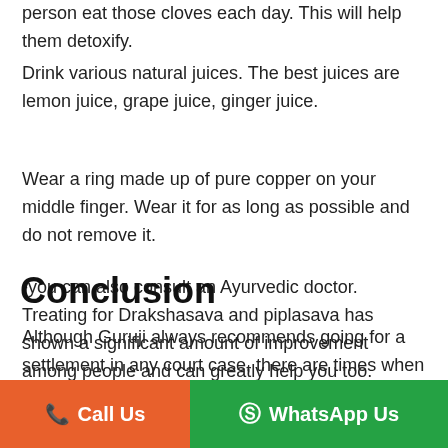person eat those cloves each day. This will help them detoxify.
Drink various natural juices. The best juices are lemon juice, grape juice, ginger juice.
Wear a ring made up of pure copper on your middle finger. Wear it for as long as possible and do not remove it.
-you can also consult an Ayurvedic doctor. Treating for Drakshasava and piplasava has shown a significant amount of improvement among people and can greatly help you too.
Conclusion
Although Guruji always recommends going for a settlement in any court case, there are times when one needs to prepare to face bad intentions. is known as th
Call Us
WhatsApp Us